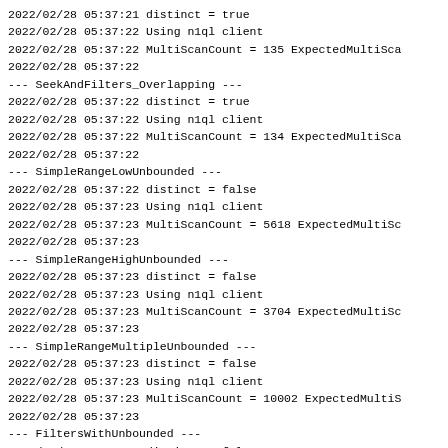2022/02/28 05:37:21 distinct = true
2022/02/28 05:37:22 Using n1ql client
2022/02/28 05:37:22 MultiScanCount = 135 ExpectedMultiSca
2022/02/28 05:37:22
--- SeekAndFilters_Overlapping ---
2022/02/28 05:37:22 distinct = true
2022/02/28 05:37:22 Using n1ql client
2022/02/28 05:37:22 MultiScanCount = 134 ExpectedMultiSca
2022/02/28 05:37:22
--- SimpleRangeLowUnbounded ---
2022/02/28 05:37:22 distinct = false
2022/02/28 05:37:23 Using n1ql client
2022/02/28 05:37:23 MultiScanCount = 5618 ExpectedMultiSc
2022/02/28 05:37:23
--- SimpleRangeHighUnbounded ---
2022/02/28 05:37:23 distinct = false
2022/02/28 05:37:23 Using n1ql client
2022/02/28 05:37:23 MultiScanCount = 3704 ExpectedMultiSc
2022/02/28 05:37:23
--- SimpleRangeMultipleUnbounded ---
2022/02/28 05:37:23 distinct = false
2022/02/28 05:37:23 Using n1ql client
2022/02/28 05:37:23 MultiScanCount = 10002 ExpectedMultiS
2022/02/28 05:37:23
--- FiltersWithUnbounded ---
2022/02/28 05:37:23 distinct = false
2022/02/28 05:37:24 Using n1ql client
2022/02/28 05:37:24 MultiScanCount = 3173 ExpectedMultiSc
2022/02/28 05:37:24
--- FiltersLowGreaterThanHigh ---